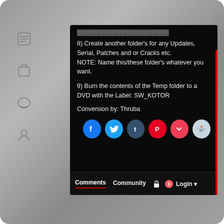8) Create another folder's for any Updates, Serial, Patches and or Cracks etc.
NOTE: Name this/these folder's whatever you want.
9) Burn the contents of the Temp folder to a DVD with the Label: SW_KOTOR
Conversion by: Thruba
[Figure (screenshot): Social sharing buttons: Facebook, Twitter, Tumblr, Pinterest, Pocket, Reddit]
Comments   Community   [lock icon]   [1 notification]   Login